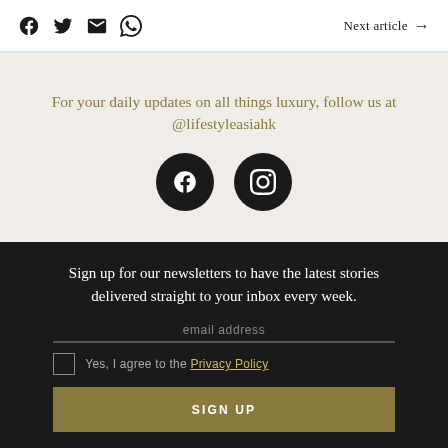social share icons and Next article link
For your daily updates on all things luxury, follow us at @lifestyleasiahk
[Figure (illustration): Two circular black buttons: Facebook and Instagram icons]
Sign up for our newsletters to have the latest stories delivered straight to your inbox every week.
email address
Yes, I agree to the Privacy Policy
SIGN UP